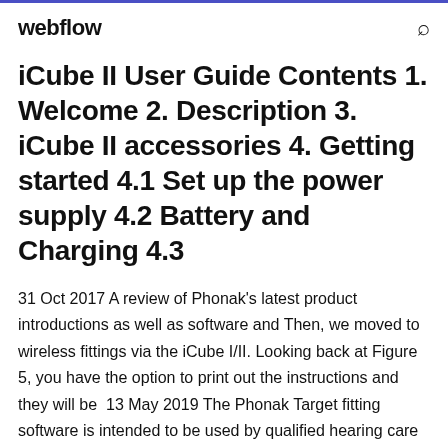webflow
iCube II User Guide Contents 1. Welcome 2. Description 3. iCube II accessories 4. Getting started 4.1 Set up the power supply 4.2 Battery and Charging 4.3
31 Oct 2017 A review of Phonak's latest product introductions as well as software and Then, we moved to wireless fittings via the iCube I/II. Looking back at Figure 5, you have the option to print out the instructions and they will be  13 May 2019 The Phonak Target fitting software is intended to be used by qualified hearing care When [Manual] activation is selected, the hearing aids will play a Programming interfaces